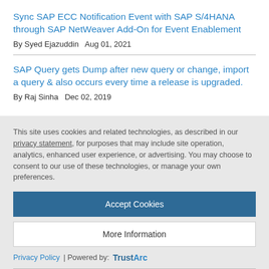Sync SAP ECC Notification Event with SAP S/4HANA through SAP NetWeaver Add-On for Event Enablement
By Syed Ejazuddin   Aug 01, 2021
SAP Query gets Dump after new query or change, import a query & also occurs every time a release is upgraded.
By Raj Sinha   Dec 02, 2019
This site uses cookies and related technologies, as described in our privacy statement, for purposes that may include site operation, analytics, enhanced user experience, or advertising. You may choose to consent to our use of these technologies, or manage your own preferences.
Accept Cookies
More Information
Privacy Policy | Powered by: TrustArc